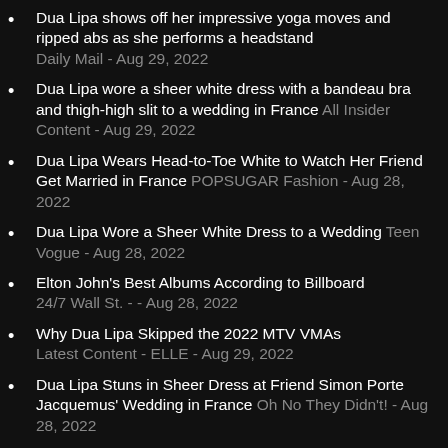Dua Lipa shows off her impressive yoga moves and ripped abs as she performs a headstand Daily Mail - Aug 29, 2022
Dua Lipa wore a sheer white dress with a bandeau bra and thigh-high slit to a wedding in France All Insider Content - Aug 29, 2022
Dua Lipa Wears Head-to-Toe White to Watch Her Friend Get Married in France POPSUGAR Fashion - Aug 28, 2022
Dua Lipa Wore a Sheer White Dress to a Wedding Teen Vogue - Aug 28, 2022
Elton John's Best Albums According to Billboard 24/7 Wall St. - - Aug 28, 2022
Why Dua Lipa Skipped the 2022 MTV VMAs Latest Content - ELLE - Aug 29, 2022
Dua Lipa Stuns in Sheer Dress at Friend Simon Porte Jacquemus' Wedding in France Oh No They Didn't! - Aug 28, 2022
'Britney was broken. I've been broken and it's horrible': Elton John on helping Britney Spears sing again The Guardian - Aug 25, 2022